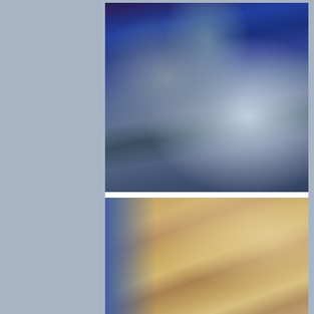[Figure (illustration): Anime-style illustration showing characters with blue and teal hair in close-up, one wearing armored/robotic outfit with glowing highlights]
THE AMAZING WORLD OF GUMBALL   ♥ 1   👁 142   19/12/2020
[Figure (illustration): Anime-style illustration showing characters in warm orange/tan tones with partial view of limbs and clothing]